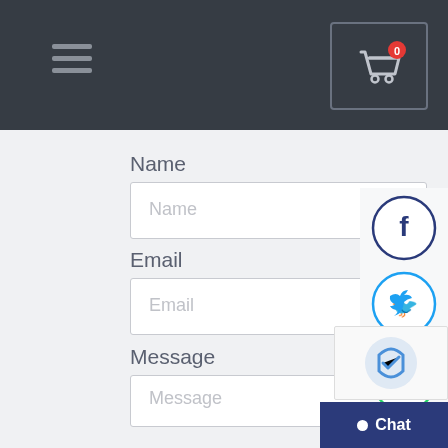[Figure (screenshot): Dark navigation header bar with hamburger menu icon on the left and a shopping cart icon with a red badge showing '0' in a bordered box on the right]
Name
[Figure (screenshot): Name input field with placeholder text 'Name']
Email
[Figure (screenshot): Email input field with placeholder text 'Email']
Message
[Figure (screenshot): Message textarea with placeholder text 'Message']
[Figure (screenshot): Social media sidebar with Facebook, Twitter, WhatsApp, and Skype circular icon buttons]
[Figure (screenshot): Partial reCAPTCHA widget and Chat button at bottom right]